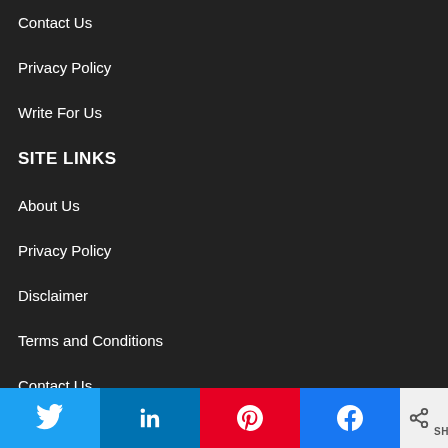Contact Us
Privacy Policy
Write For Us
SITE LINKS
About Us
Privacy Policy
Disclaimer
Terms and Conditions
Contact Us
Write for Us
0 SHARES